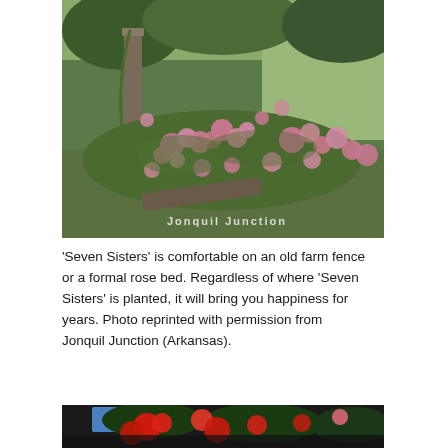[Figure (photo): Photo of 'Seven Sisters' climbing rose bush growing along an old farm fence post, showing abundant pink blooms amid green foliage and grass, with trees in background. Watermark reads 'Jonquil Junction' in lower right corner.]
'Seven Sisters' is comfortable on an old farm fence or a formal rose bed. Regardless of where 'Seven Sisters' is planted, it will bring you happiness for years. Photo reprinted with permission from Jonquil Junction (Arkansas).
[Figure (photo): Partial photo of red roses with green foliage and blue sky visible, cropped at bottom of page.]